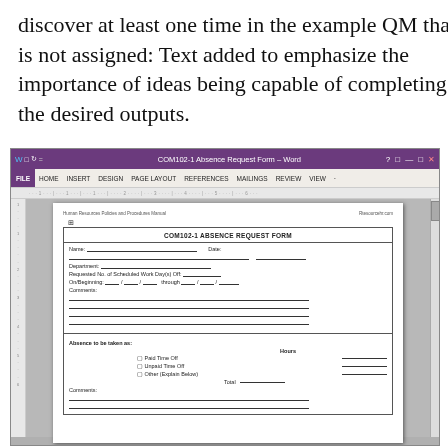discover at least one time in the example QM that is not assigned: Text added to emphasize the importance of ideas being capable of completing the desired outputs.
[Figure (screenshot): Screenshot of Microsoft Word showing COM102-1 Absence Request Form with ribbon menu, ruler, and a form containing fields for Name, Date, Department, Requested No. of Scheduled Work Day(s) Off, On/Beginning through dates, Comments, and Absence to be taken as section with checkboxes for Paid Time Off, Unpaid Time Off, Other (Explain Below), Total hours, and Comments lines.]